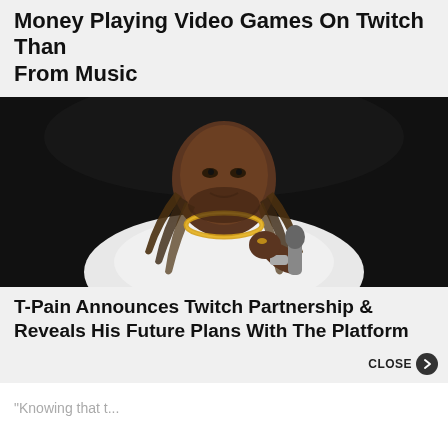Money Playing Video Games On Twitch Than From Music
[Figure (photo): T-Pain performing on stage holding a microphone, wearing a white outfit with braided hair and gold chain necklace, against a dark background]
T-Pain Announces Twitch Partnership & Reveals His Future Plans With The Platform
CLOSE >
"Knowing that t...